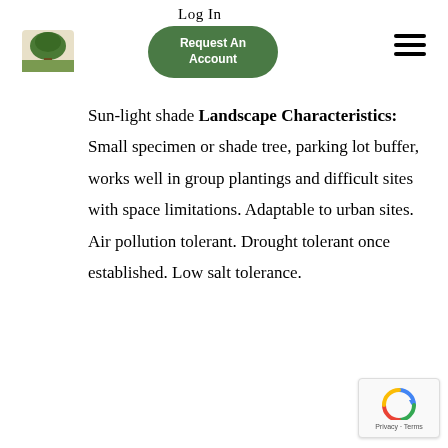Log In
[Figure (logo): Tree logo icon — green tree silhouette on a landscape background]
[Figure (other): Request An Account button — dark green pill-shaped button with white bold text]
[Figure (other): Hamburger menu icon — three horizontal black lines]
Sun-light shade Landscape Characteristics: Small specimen or shade tree, parking lot buffer, works well in group plantings and difficult sites with space limitations. Adaptable to urban sites. Air pollution tolerant. Drought tolerant once established. Low salt tolerance.
[Figure (other): reCAPTCHA badge with Privacy · Terms text]